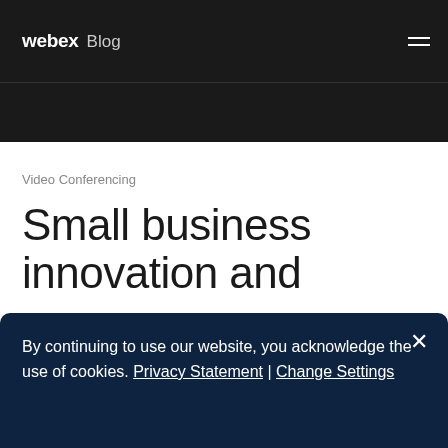webex Blog
Video Conferencing
Small business innovation and
By continuing to use our website, you acknowledge the use of cookies. Privacy Statement | Change Settings